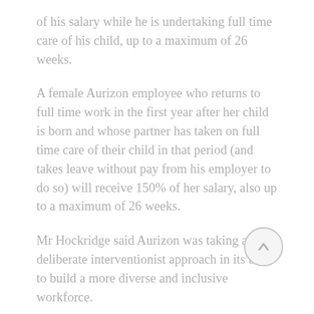of his salary while he is undertaking full time care of his child, up to a maximum of 26 weeks.
A female Aurizon employee who returns to full time work in the first year after her child is born and whose partner has taken on full time care of their child in that period (and takes leave without pay from his employer to do so) will receive 150% of her salary, also up to a maximum of 26 weeks.
Mr Hockridge said Aurizon was taking a deliberate interventionist approach in its bid to build a more diverse and inclusive workforce.
“We know that it won’t be for everyone, but we believe it can start to change the nature of the conversation that soon-to-be parents have ‘round the kitchen table’ when thinking about